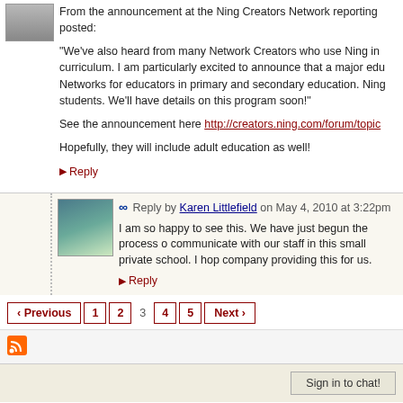From the announcement at the Ning Creators Network reporting posted:
"We've also heard from many Network Creators who use Ning in curriculum. I am particularly excited to announce that a major edu Networks for educators in primary and secondary education. Ning students. We'll have details on this program soon!"
See the announcement here http://creators.ning.com/forum/topics...
Hopefully, they will include adult education as well!
▶ Reply
Reply by Karen Littlefield on May 4, 2010 at 3:22pm
I am so happy to see this. We have just begun the process of communicate with our staff in this small private school. I hop company providing this for us.
▶ Reply
‹ Previous  1  2  3  4  5  Next ›
Sign in to chat!